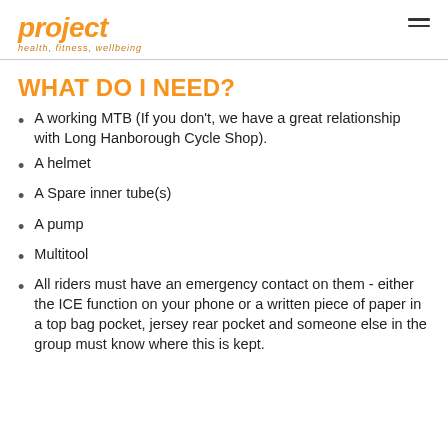project — health, fitness, wellbeing
WHAT DO I NEED?
A working MTB (If you don't, we have a great relationship with Long Hanborough Cycle Shop).
A helmet
A Spare inner tube(s)
A pump
Multitool
All riders must have an emergency contact on them - either the ICE function on your phone or a written piece of paper in a top bag pocket, jersey rear pocket and someone else in the group must know where this is kept.